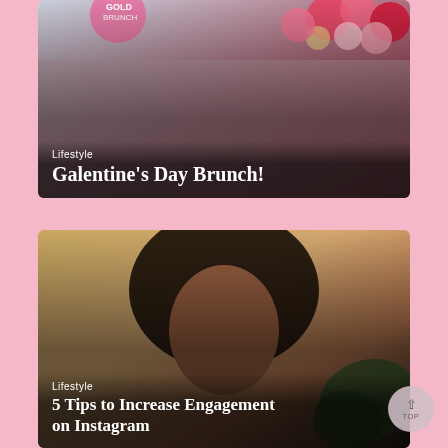[Figure (photo): Group photo of four women at a Galentine's Day brunch event with pink and red balloons in background. Text overlay shows 'Lifestyle' category label and title 'Galentine's Day Brunch!']
[Figure (photo): Portrait of a woman with large natural afro hair and dramatic makeup with eyes closed. Monstera leaf visible in background. Text overlay shows 'Lifestyle' category label and title '5 Tips to Increase Engagement on Instagram']